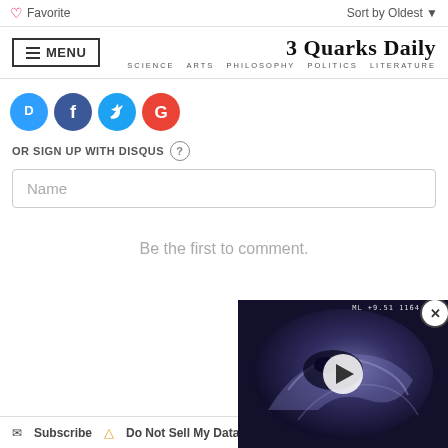Favorite   Sort by Oldest
[Figure (logo): 3 Quarks Daily site logo with menu button and site title]
[Figure (infographic): Social sign-in icons: Disqus (D), Facebook (f), Twitter bird, Google (G)]
OR SIGN UP WITH DISQUS
Name
Be the first to comment.
Subscribe   Do Not Sell My Data
[Figure (screenshot): Video overlay showing a swirling ultrasound/fluid image with a play button, close button, and label 'ML +9.51 1164']